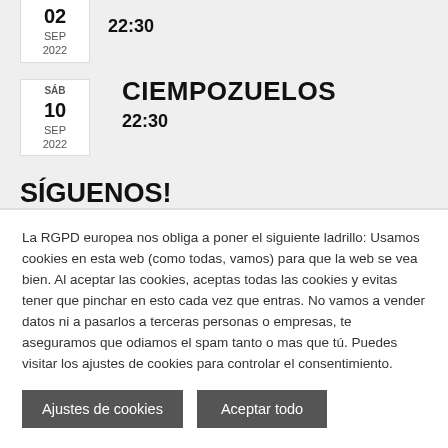02 SEP 2022  22:30
CIEMPOZUELOS
SÁB 10 SEP 2022  22:30
SÍGUENOS!
[Figure (other): Social media icon buttons in green, blue, light blue, red, dark red, pink colors partially visible]
La RGPD europea nos obliga a poner el siguiente ladrillo: Usamos cookies en esta web (como todas, vamos) para que la web se vea bien. Al aceptar las cookies, aceptas todas las cookies y evitas tener que pinchar en esto cada vez que entras. No vamos a vender datos ni a pasarlos a terceras personas o empresas, te aseguramos que odiamos el spam tanto o mas que tú. Puedes visitar los ajustes de cookies para controlar el consentimiento.
Ajustes de cookies
Aceptar todo